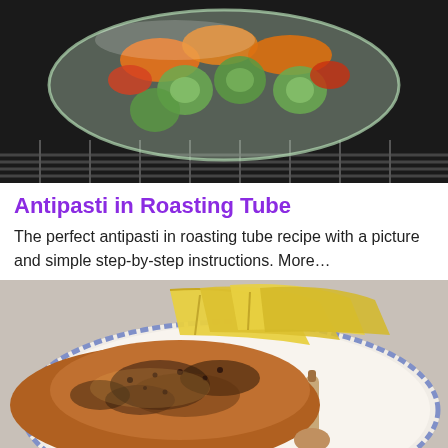[Figure (photo): A glass roasting tube filled with colorful antipasti vegetables including zucchini slices, carrots, and other vegetables, sitting on an oven rack.]
Antipasti in Roasting Tube
The perfect antipasti in roasting tube recipe with a picture and simple step-by-step instructions. More…
[Figure (photo): A roasted chicken leg/quarter with dark spiced crust served on a decorative plate alongside roasted yellow potato wedges.]